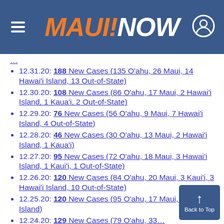MAUI NOW
12.31.20: 188 New Cases (135 O‘ahu, 26 Maui, 14 Hawai‘i Island, 13 Out-of-State)
12.30.20: 108 New Cases (86 O‘ahu, 17 Maui, 2 Hawai‘i Island, 1 Kaua‘i, 2 Out-of-State)
12.29.20: 76 New Cases (56 O‘ahu, 9 Maui, 7 Hawai‘i Island, 4 Out-of-State)
12.28.20: 46 New Cases (30 O‘ahu, 13 Maui, 2 Hawai‘i Island, 1 Kaua‘i)
12.27.20: 95 New Cases (72 O‘ahu, 18 Maui, 3 Hawai‘i Island, 1 Kaui‘i, 1 Out-of-State)
12.26.20: 120 New Cases (84 O‘ahu, 20 Maui, 3 Kaui‘i, 3 Hawai‘i Island, 10 Out-of-State)
12.25.20: 120 New Cases (95 O‘ahu, 17 Maui, 8 Hawai‘i Island)
12.24.20: 129 New Cases (79 O‘ahu, 33 … 13 Hawai‘i Island, 1 Kaua‘i, 3 Out-of-Stat…